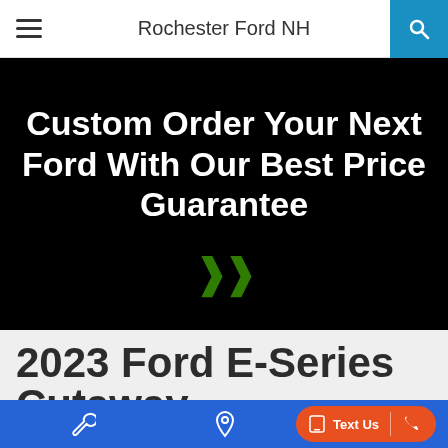Rochester Ford NH
Custom Order Your Next Ford With Our Best Price Guarantee
2023 Ford E-Series Cutaway
E-350 DRW 158" WB
Text Us